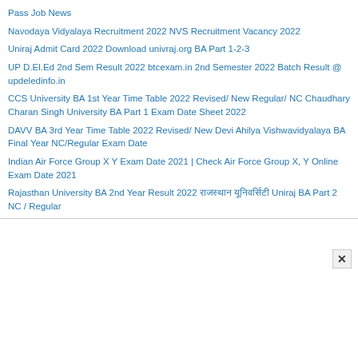Pass Job News
Navodaya Vidyalaya Recruitment 2022 NVS Recruitment Vacancy 2022
Uniraj Admit Card 2022 Download univraj.org BA Part 1-2-3
UP D.El.Ed 2nd Sem Result 2022 btcexam.in 2nd Semester 2022 Batch Result @ updeledinfo.in
CCS University BA 1st Year Time Table 2022 Revised/ New Regular/ NC Chaudhary Charan Singh University BA Part 1 Exam Date Sheet 2022
DAVV BA 3rd Year Time Table 2022 Revised/ New Devi Ahilya Vishwavidyalaya BA Final Year NC/Regular Exam Date
Indian Air Force Group X Y Exam Date 2021 | Check Air Force Group X, Y Online Exam Date 2021
Rajasthan University BA 2nd Year Result 2022 राजस्थान यूनिवर्सिटी Uniraj BA Part 2 NC / Regular